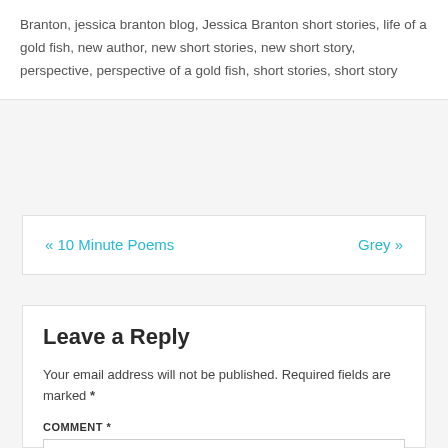Branton, jessica branton blog, Jessica Branton short stories, life of a gold fish, new author, new short stories, new short story, perspective, perspective of a gold fish, short stories, short story
« 10 Minute Poems   Grey »
Leave a Reply
Your email address will not be published. Required fields are marked *
COMMENT *